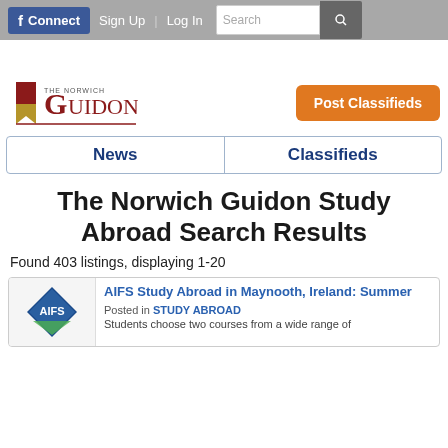f Connect | Sign Up | Log In | Search
[Figure (logo): The Norwich Guidon logo with bookmark icon and stylized G]
Post Classifieds
News | Classifieds
The Norwich Guidon Study Abroad Search Results
Found 403 listings, displaying 1-20
AIFS Study Abroad in Maynooth, Ireland: Summer
Posted in STUDY ABROAD
Students choose two courses from a wide range of